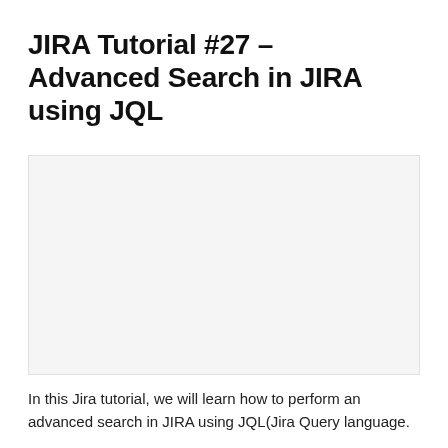JIRA Tutorial #27 – Advanced Search in JIRA using JQL
[Figure (other): Blank/placeholder image area with light grey background]
In this Jira tutorial, we will learn how to perform an advanced search in JIRA using JQL(Jira Query language.